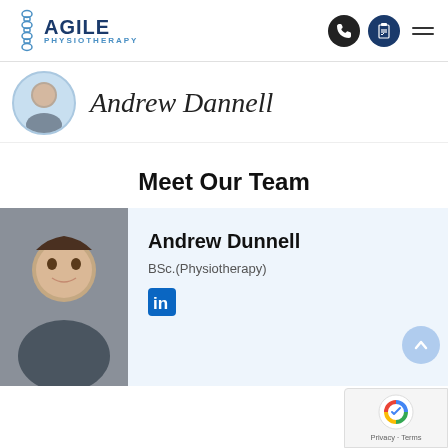[Figure (logo): Agile Physiotherapy logo with spine graphic and blue text]
[Figure (illustration): Header icons: phone (dark circle), clipboard (dark blue circle), hamburger menu]
[Figure (photo): Small circular headshot of Andrew Dunnell in author band]
Andrew Dannell
Meet Our Team
[Figure (photo): Photo of Andrew Dunnell, a young man with dark hair, in a team card]
Andrew Dunnell
BSc.(Physiotherapy)
[Figure (illustration): LinkedIn icon in blue]
[Figure (illustration): reCAPTCHA badge with Privacy and Terms text]